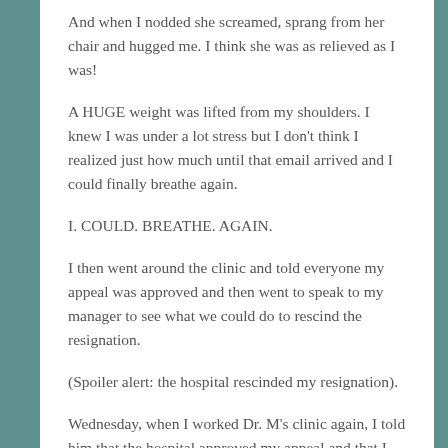And when I nodded she screamed, sprang from her chair and hugged me. I think she was as relieved as I was!
A HUGE weight was lifted from my shoulders. I knew I was under a lot stress but I don't think I realized just how much until that email arrived and I could finally breathe again.
I. COULD. BREATHE. AGAIN.
I then went around the clinic and told everyone my appeal was approved and then went to speak to my manager to see what we could do to rescind the resignation.
(Spoiler alert: the hospital rescinded my resignation).
Wednesday, when I worked Dr. M's clinic again, I told him that the hospital approved my appeal and that I would be